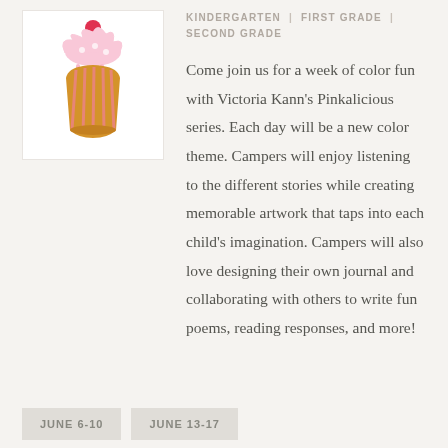[Figure (illustration): Pink cupcake illustration with white frosting, pink icing, and a red cherry on top, inside a white bordered box]
KINDERGARTEN | FIRST GRADE | SECOND GRADE
Come join us for a week of color fun with Victoria Kann's Pinkalicious series. Each day will be a new color theme. Campers will enjoy listening to the different stories while creating memorable artwork that taps into each child's imagination. Campers will also love designing their own journal and collaborating with others to write fun poems, reading responses, and more!
JUNE 6-10
JUNE 13-17